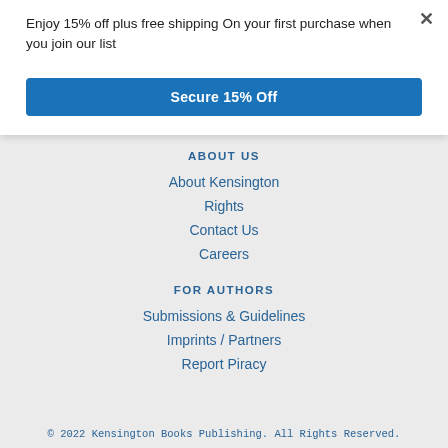Enjoy 15% off plus free shipping On your first purchase when you join our list
×
Secure 15% Off
ABOUT US
About Kensington
Rights
Contact Us
Careers
FOR AUTHORS
Submissions & Guidelines
Imprints / Partners
Report Piracy
© 2022 Kensington Books Publishing. All Rights Reserved.